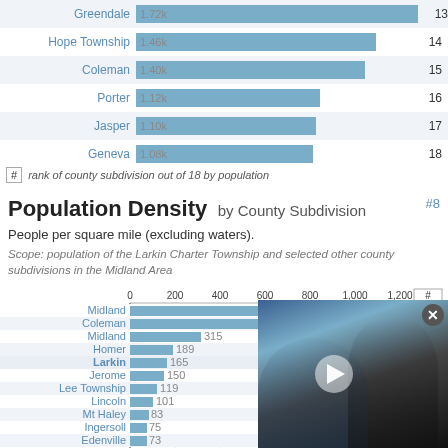[Figure (bar-chart): Population by County Subdivision (top section)]
# rank of county subdivision out of 18 by population
Population Density by County Subdivision #8
People per square mile (excluding waters).
Scope: population of the Larkin Charter Township and selected other county subdivisions in the Midland Area
[Figure (bar-chart): Population Density by County Subdivision]
[Figure (photo): Video overlay showing people in a meeting room setting with a play button]